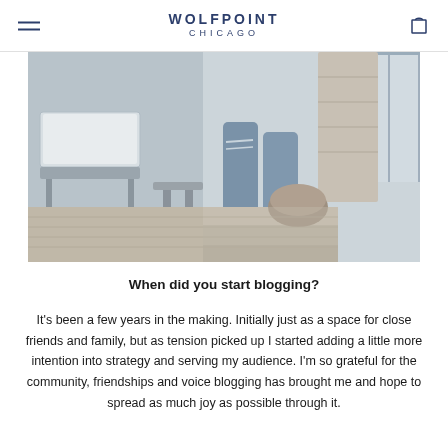WOLFPOINT CHICAGO
[Figure (photo): Outdoor rooftop/deck scene showing patio furniture on the left and a person wearing ripped jeans and white ankle boots on the right, standing on wooden deck steps with glass railing visible]
When did you start blogging?
It’s been a few years in the making. Initially just as a space for close friends and family, but as tension picked up I started adding a little more intention into strategy and serving my audience. I’m so grateful for the community, friendships and voice blogging has brought me and hope to spread as much joy as possible through it.